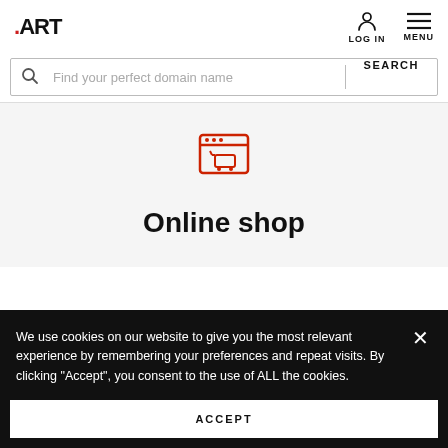.ART | LOG IN | MENU
Find your perfect domain name SEARCH
[Figure (illustration): Red outlined icon of a browser window with a shopping cart inside]
Online shop
We use cookies on our website to give you the most relevant experience by remembering your preferences and repeat visits. By clicking "Accept", you consent to the use of ALL the cookies.
ACCEPT